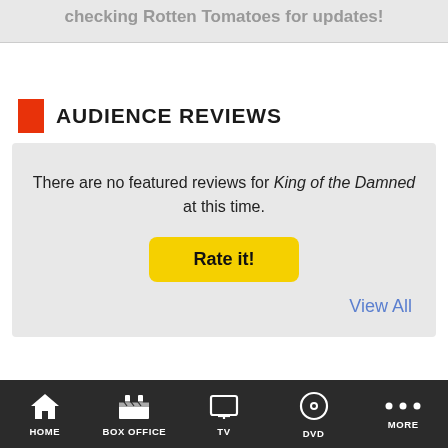checking Rotten Tomatoes for updates!
AUDIENCE REVIEWS
There are no featured reviews for King of the Damned at this time.
Rate it!
View All
HOME | BOX OFFICE | TV | DVD | MORE